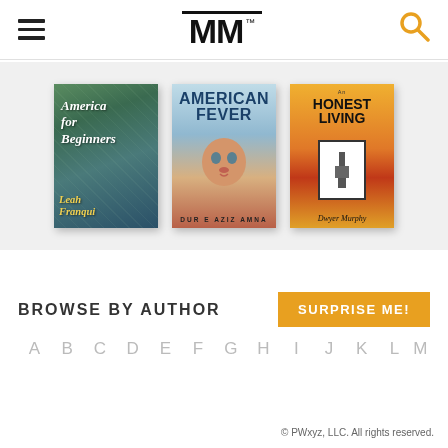MM (logo with TM mark)
[Figure (illustration): Three book covers displayed horizontally: 'America for Beginners' by Leah Franqui, 'American Fever' by Dur e Aziz Amna, and 'An Honest Living' by Dwyer Murphy]
BROWSE BY AUTHOR
SURPRISE ME!
A  B  C  D  E  F  G  H  I  J  K  L  M
© PWxyz, LLC. All rights reserved.